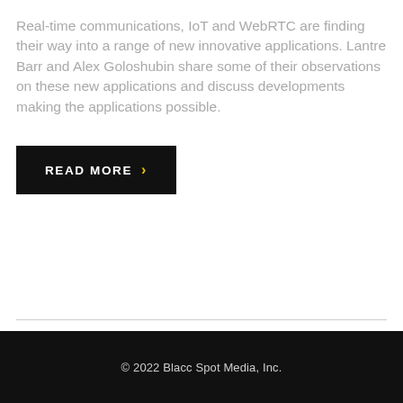Real-time communications, IoT and WebRTC are finding their way into a range of new innovative applications. Lantre Barr and Alex Goloshubin share some of their observations on these new applications and discuss developments making the applications possible.
Read More ›
© 2022 Blacc Spot Media, Inc.